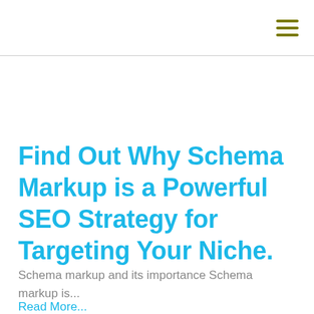Find Out Why Schema Markup is a Powerful SEO Strategy for Targeting Your Niche.
Schema markup and its importance Schema markup is...
Read More...